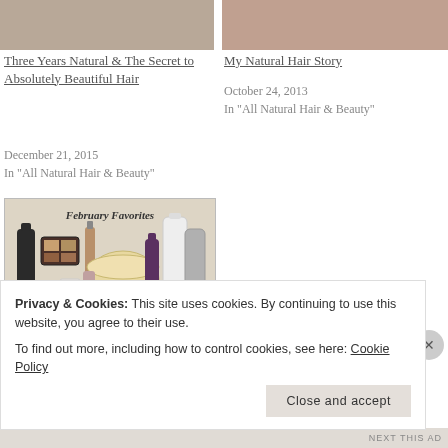[Figure (photo): Cropped top image left column (partially visible)]
Three Years Natural & The Secret to Absolutely Beautiful Hair
December 21, 2015
In "All Natural Hair & Beauty"
[Figure (photo): Cropped top image right column (partially visible)]
My Natural Hair Story
October 24, 2013
In "All Natural Hair & Beauty"
[Figure (photo): February Favorites product image showing various hair and beauty products]
February Natural Hair & Beauty Favorites
March 7, 2016
In "All Natural Hair & Beauty"
Privacy & Cookies: This site uses cookies. By continuing to use this website, you agree to their use.
To find out more, including how to control cookies, see here: Cookie Policy
Close and accept